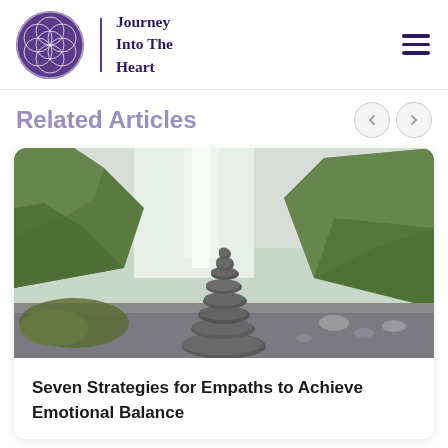Journey Into The Heart
Related Articles
[Figure (photo): Stacked zen stones balanced in front of a waterfall and green cliffs landscape]
Seven Strategies for Empaths to Achieve Emotional Balance